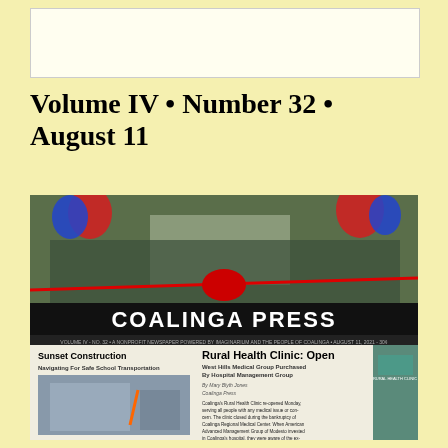[Figure (other): Advertisement placeholder box - empty white rectangle with border]
Volume IV • Number 32 • August 11
[Figure (photo): Front page of Coalinga Press newspaper showing a ribbon-cutting ceremony at Coalinga's Rural Health Clinic with group of people, red ribbon, and balloons. Headlines include 'Sunset Construction - Navigating For Safe School Transportation' and 'Rural Health Clinic: Open - West Hills Medical Group Purchased By Hospital Management Group'. Article text visible below headlines.]